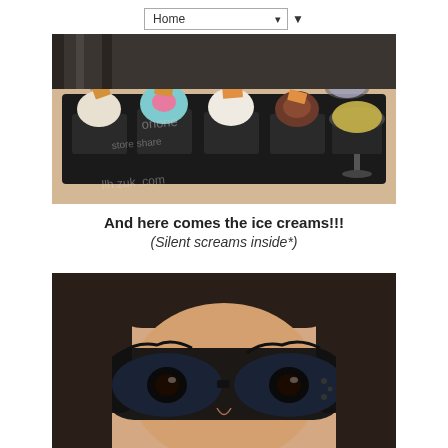Home ▼
[Figure (photo): Multiple scoops of ice cream in small black square dishes and glass bowls arranged on a dark tray, each topped with a wafer or crispy garnish, with a watermark overlay]
And here comes the ice creams!!!
(Silent screams inside*)
[Figure (photo): Close-up selfie of a person wearing large black-framed glasses, dark hair, looking at the camera]